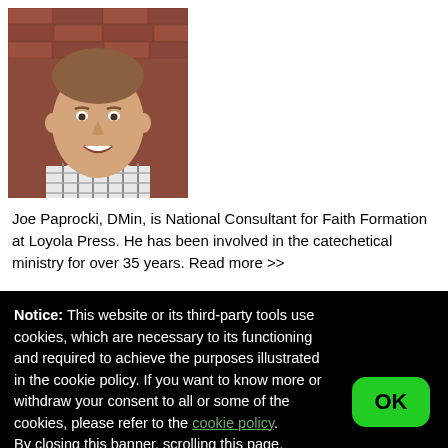[Figure (photo): Headshot photo of a smiling young man in a plaid shirt, shown from shoulders up, with a brick wall background.]
Joe Paprocki, DMin, is National Consultant for Faith Formation at Loyola Press. He has been involved in the catechetical ministry for over 35 years. Read more >>
Notice: This website or its third-party tools use cookies, which are necessary to its functioning and required to achieve the purposes illustrated in the cookie policy. If you want to know more or withdraw your consent to all or some of the cookies, please refer to the cookie policy.
By closing this banner, scrolling this page, clicking a link or continuing to browse otherwise, you agree to the use of cookies.